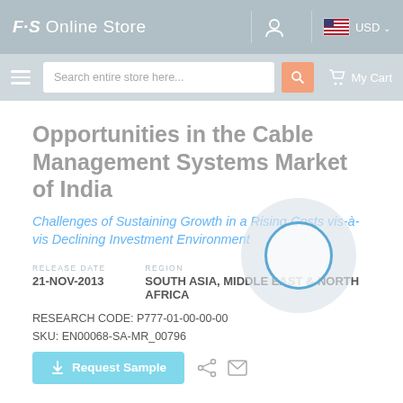ES Online Store  USD
[Figure (screenshot): Search bar with hamburger menu, search field placeholder 'Search entire store here...', search button, and My Cart link]
Opportunities in the Cable Management Systems Market of India
Challenges of Sustaining Growth in a Rising Costs vis-à-vis Declining Investment Environment
RELEASE DATE
21-NOV-2013
REGION
SOUTH ASIA, MIDDLE EAST & NORTH AFRICA
RESEARCH CODE: P777-01-00-00-00
SKU: EN00068-SA-MR_00796
Request Sample